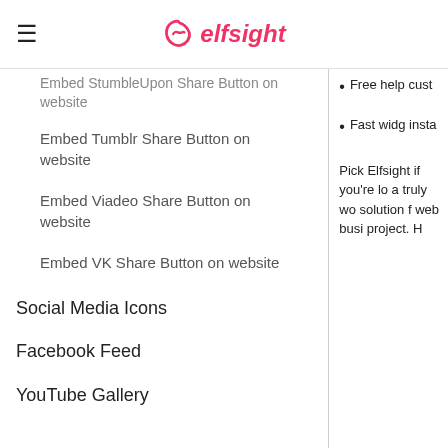elfsight
Embed StumbleUpon Share Button on website
Embed Tumblr Share Button on website
Embed Viadeo Share Button on website
Embed VK Share Button on website
Social Media Icons
Facebook Feed
YouTube Gallery
Free help cust
Fast widg insta
Pick Elfsight if you're looking for a truly world-class solution for your web business or project. H